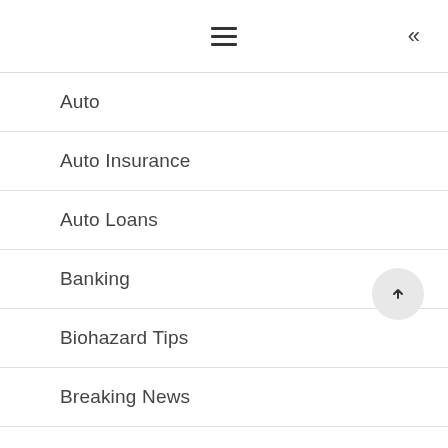≡  «
Auto
Auto Insurance
Auto Loans
Banking
Biohazard Tips
Breaking News
Budgeting
Building Credit
Building Wealth